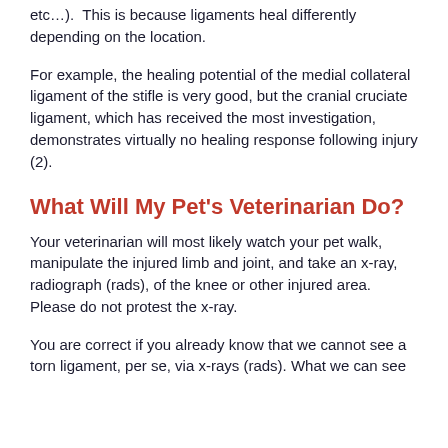etc…).  This is because ligaments heal differently depending on the location.
For example, the healing potential of the medial collateral ligament of the stifle is very good, but the cranial cruciate ligament, which has received the most investigation, demonstrates virtually no healing response following injury (2).
What Will My Pet's Veterinarian Do?
Your veterinarian will most likely watch your pet walk, manipulate the injured limb and joint, and take an x-ray, radiograph (rads), of the knee or other injured area. Please do not protest the x-ray.
You are correct if you already know that we cannot see a torn ligament, per se, via x-rays (rads). What we can see